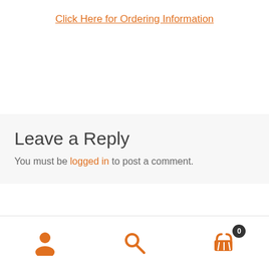Click Here for Ordering Information
Leave a Reply
You must be logged in to post a comment.
Product Categories
[Figure (infographic): Bottom navigation bar with user/account icon, search icon, and shopping cart icon with badge showing 0]